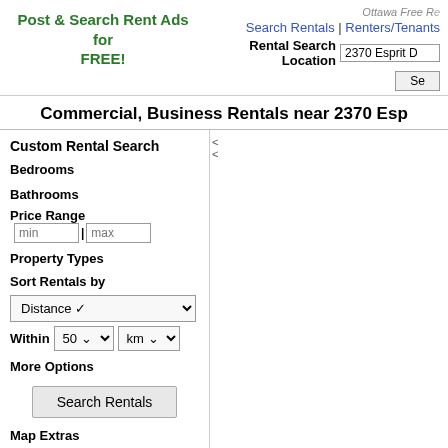Ottawa Free Re... | Post & Search Rent Ads for FREE! | Search Rentals | Renters/Tenants | Rental Search Location: 2370 Esprit D...
Commercial, Business Rentals near 2370 Esp
Custom Rental Search
Bedrooms
Bathrooms
Price Range  min  max
Property Types
Sort Rentals by  Distance
Within  50  km
More Options
Search Rentals
Map Extras
Show Range Circles